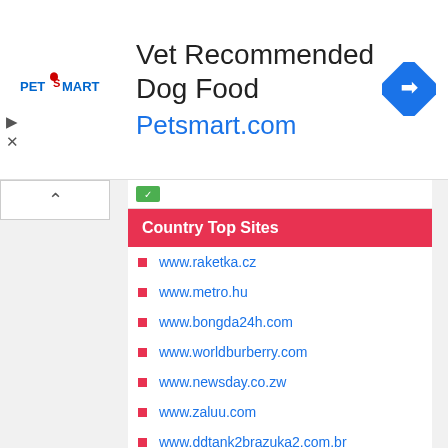[Figure (screenshot): PetSmart advertisement banner with logo, text 'Vet Recommended Dog Food' and 'Petsmart.com', and a blue direction sign icon]
Country Top Sites
www.raketka.cz
www.metro.hu
www.bongda24h.com
www.worldburberry.com
www.newsday.co.zw
www.zaluu.com
www.ddtank2brazuka2.com.br
www.sodra.lt
www.loginme123.com
www.youtobe.com
www.99salon.com
www.indianglima.com